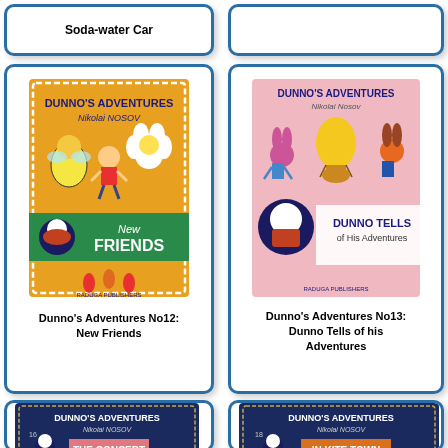Soda-water Car
[Figure (photo): Book cover of Dunno's Adventures No12: New Friends, yellow cover with illustrated characters and green banner]
Dunno's Adventures No12:
New Friends
[Figure (photo): Book cover of Dunno's Adventures No13: Dunno Tells of his Adventures, pink cover with illustrated characters]
Dunno's Adventures No13:
Dunno Tells of his Adventures
[Figure (photo): Book cover of Dunno's Adventures No16: The Concert, dark blue cover with illustrated characters]
[Figure (photo): Book cover of Dunno's Adventures No18: In Kite Town, dark blue cover with illustrated characters]